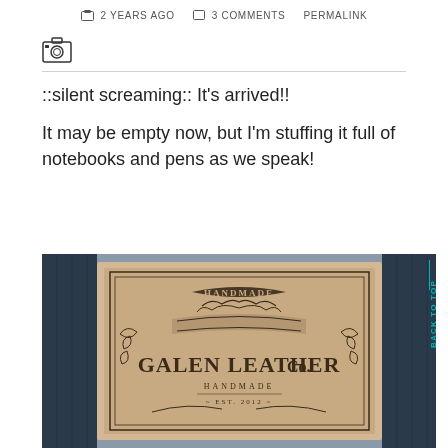2 YEARS AGO   3 COMMENTS   PERMALINK
[Figure (other): Camera icon above a horizontal divider line]
::silent screaming:: It’s arrived!!
It may be empty now, but I’m stuffing it full of notebooks and pens as we speak!
[Figure (photo): Photo of a Galen Leather Co. handmade leather product box/folio with dark navy leather cover, showing brand logo with ornate vintage design. Text reads HANDMADE, GALEN LEATHER Co., HANDMADE, EST. 2012]